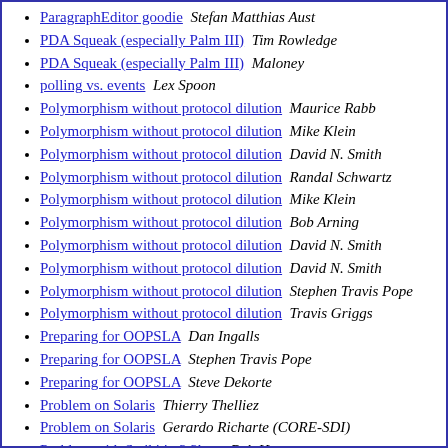ParagraphEditor goodie  Stefan Matthias Aust
PDA Squeak (especially Palm III)  Tim Rowledge
PDA Squeak (especially Palm III)  Maloney
polling vs. events  Lex Spoon
Polymorphism without protocol dilution  Maurice Rabb
Polymorphism without protocol dilution  Mike Klein
Polymorphism without protocol dilution  David N. Smith
Polymorphism without protocol dilution  Randal Schwartz
Polymorphism without protocol dilution  Mike Klein
Polymorphism without protocol dilution  Bob Arning
Polymorphism without protocol dilution  David N. Smith
Polymorphism without protocol dilution  David N. Smith
Polymorphism without protocol dilution  Stephen Travis Pope
Polymorphism without protocol dilution  Travis Griggs
Preparing for OOPSLA  Dan Ingalls
Preparing for OOPSLA  Stephen Travis Pope
Preparing for OOPSLA  Steve Dekorte
Problem on Solaris  Thierry Thelliez
Problem on Solaris  Gerardo Richarte (CORE-SDI)
Problem with Swiki in 2.2beta  Bob Houston
Problem with Swiki in 2.2beta  Mark Gundial